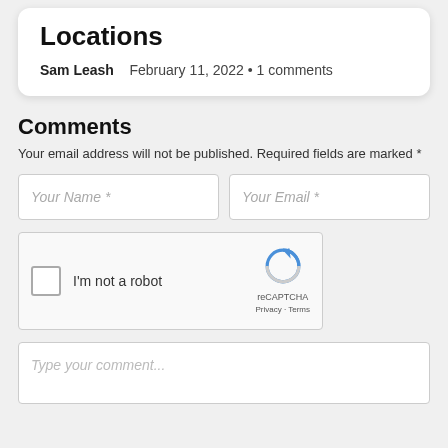Locations
Sam Leash   February 11, 2022 · 1 comments
Comments
Your email address will not be published. Required fields are marked *
[Figure (screenshot): Web comment form with Your Name and Your Email input fields, reCAPTCHA widget, and comment textarea]
Type your comment...